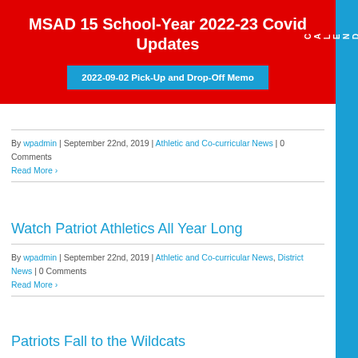MSAD 15 School-Year 2022-23 Covid Updates
2022-09-02 Pick-Up and Drop-Off Memo
By wpadmin | September 22nd, 2019 | Athletic and Co-curricular News | 0 Comments
Read More
Watch Patriot Athletics All Year Long
By wpadmin | September 22nd, 2019 | Athletic and Co-curricular News, District News | 0 Comments
Read More
Patriots Fall to the Wildcats